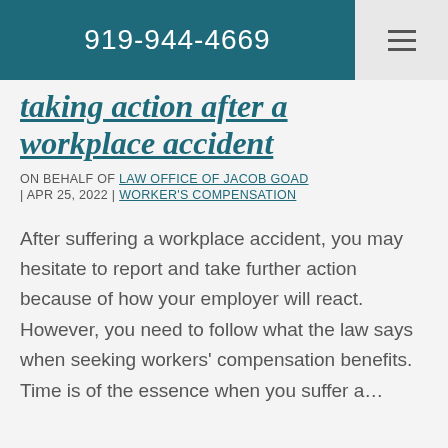919-944-4669
taking action after a workplace accident
ON BEHALF OF LAW OFFICE OF JACOB GOAD | APR 25, 2022 | WORKER'S COMPENSATION
After suffering a workplace accident, you may hesitate to report and take further action because of how your employer will react. However, you need to follow what the law says when seeking workers' compensation benefits. Time is of the essence when you suffer a…